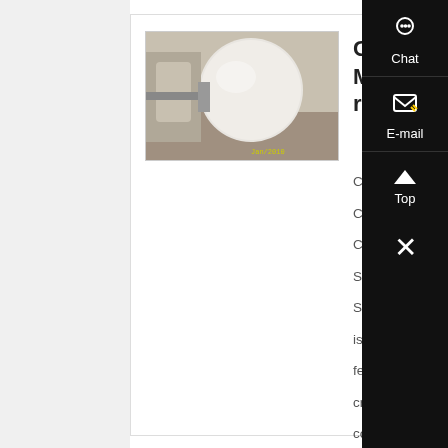[Figure (photo): Photo of a large white calcium carbonate ball mill machine in an industrial setting]
Calcium Car... Mills - relaxrecreat...
Calcium Carbon...
Classifier Home...
Carbonate Ball M...
Stone Crushing...
Sand and stone...
is mainly compo...
feeder, jaw crus...
crusher, vibratin...
conveyor and ce...
control and the d...
generally 50-800...